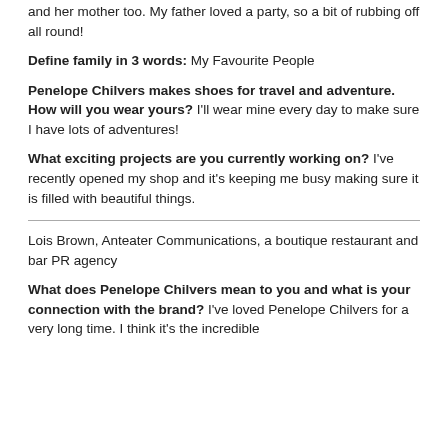and her mother too. My father loved a party, so a bit of rubbing off all round!
Define family in 3 words: My Favourite People
Penelope Chilvers makes shoes for travel and adventure. How will you wear yours? I'll wear mine every day to make sure I have lots of adventures!
What exciting projects are you currently working on? I've recently opened my shop and it's keeping me busy making sure it is filled with beautiful things.
Lois Brown, Anteater Communications, a boutique restaurant and bar PR agency
What does Penelope Chilvers mean to you and what is your connection with the brand? I've loved Penelope Chilvers for a very long time. I think it's the incredible